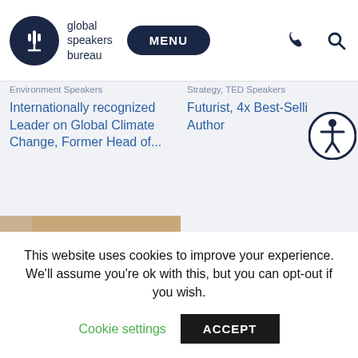global speakers bureau | MENU
Environment Speakers
Strategy, TED Speakers
Internationally recognized Leader on Global Climate Change, Former Head of...
Futurist, 4x Best-Selling Author
[Figure (photo): Portrait photo of a man smiling, with dark hair, green plant visible in background]
This website uses cookies to improve your experience. We'll assume you're ok with this, but you can opt-out if you wish. Cookie settings ACCEPT